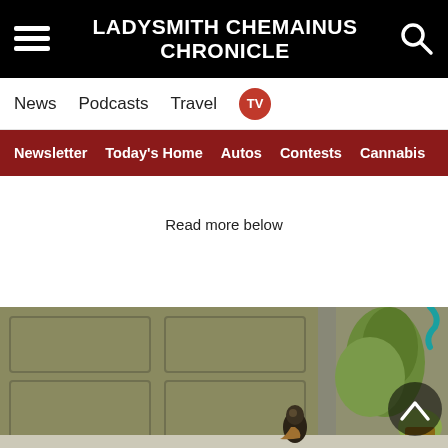LADYSMITH CHEMAINUS CHRONICLE
News   Podcasts   Travel   TV
Newsletter   Today's Home   Autos   Contests   Cannabis
Read more below
[Figure (photo): A bird (hawk or falcon) resting beside a green garage door, with potted plants and greenery visible to the right.]